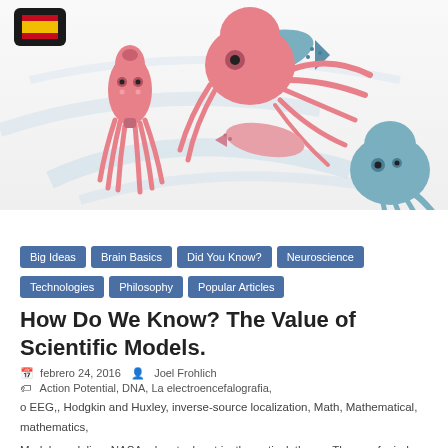[Figure (illustration): Illustrated squid/octopus characters in pink and blue-grey colors, arranged in a playful design on a white background with swirling water elements. A Spanish flag badge is in the top-left corner.]
Big Ideas
Brain Basics
Did You Know?
Neuroscience
Technologies
Philosophy
Popular Articles
How Do We Know? The Value of Scientific Models.
febrero 24, 2016   Joel Frohlich   Action Potential, DNA, La electroencefalografia, o EEG,, Hodgkin and Huxley, inverse-source localization, Math, Mathematical, mathematics, Model, modeling, NASA, planet, planet ix, theoretical, theory, Theory of mind, Truth, watson and crick